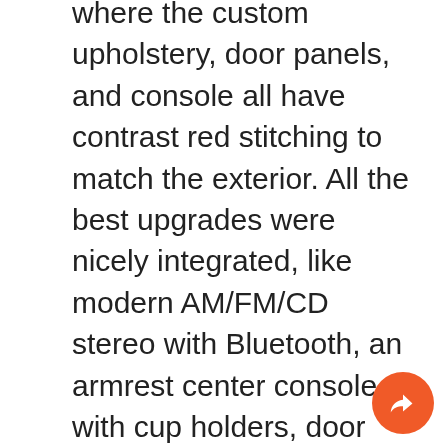where the custom upholstery, door panels, and console all have contrast red stitching to match the exterior. All the best upgrades were nicely integrated, like modern AM/FM/CD stereo with Bluetooth, an armrest center console with cup holders, door poppers on the key fob, and provisions for air conditioning (it will need servicing to blow ideally cold again.) Front bucket seats, a sports steering wheel on a tilt column, and a custom gauge package are all there to remind you that the best custom classics are made for driving.
Under the hood of this classic Ford is Chevy V8 power. That's a good thing because it means a hardy motor that loves upgrades. This one already includes a Quick Fuel four-barrel carburetor, an Edelbrock intake, HEI ignition, and an aluminum radiator. The motor fires up eagerly with a nice tune out of the dual exhaust, and it runs with confidence like a well-serviced machine. The 700R4 four-speed